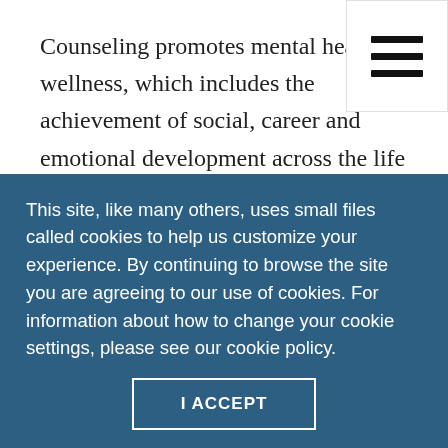Counseling promotes mental health wellness, which includes the achievement of social, career and emotional development across the life span, as well as preventing and treating mental disorders and providing crisis intervention.
Counseling includes, but is not limited to, psychotherapy, diagnosis, evaluation; administration of assessments, tests and appraisals; referral; and the establishment of counseling plans for the
This site, like many others, uses small files called cookies to help us customize your experience. By continuing to browse the site you are agreeing to our use of cookies. For information about how to change your cookie settings, please see our cookie policy.
I ACCEPT